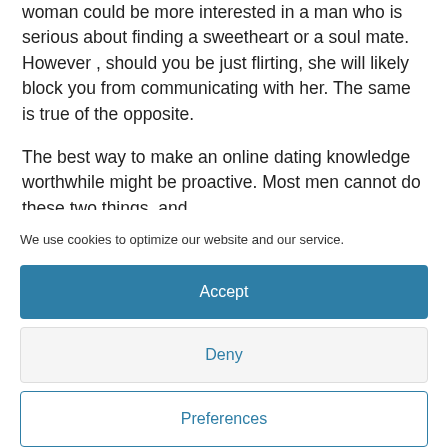woman could be more interested in a man who is serious about finding a sweetheart or a soul mate. However , should you be just flirting, she will likely block you from communicating with her. The same is true of the opposite.
The best way to make an online dating knowledge worthwhile might be proactive. Most men cannot do these two things, and
We use cookies to optimize our website and our service.
Accept
Deny
Preferences
Cookie Policy  Légal